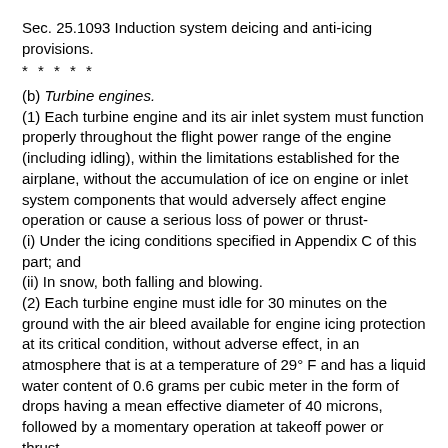Sec. 25.1093 Induction system deicing and anti-icing provisions.
* * * * *
(b) Turbine engines.
(1) Each turbine engine and its air inlet system must function properly throughout the flight power range of the engine (including idling), within the limitations established for the airplane, without the accumulation of ice on engine or inlet system components that would adversely affect engine operation or cause a serious loss of power or thrust-
(i) Under the icing conditions specified in Appendix C of this part; and
(ii) In snow, both falling and blowing.
(2) Each turbine engine must idle for 30 minutes on the ground with the air bleed available for engine icing protection at its critical condition, without adverse effect, in an atmosphere that is at a temperature of 29° F and has a liquid water content of 0.6 grams per cubic meter in the form of drops having a mean effective diameter of 40 microns, followed by a momentary operation at takeoff power or thrust.
Explanation. The FAA believes that ice accumulation on inlet system components such as noise attenuating